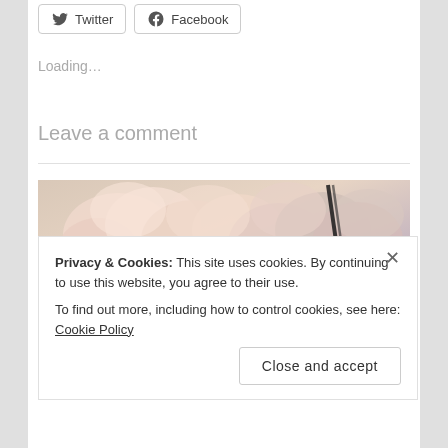[Figure (other): Twitter and Facebook share buttons]
Loading…
Leave a comment
[Figure (photo): Close-up photo of soft pink and beige fabric flowers or ruffles with a dark ribbon]
Privacy & Cookies: This site uses cookies. By continuing to use this website, you agree to their use.
To find out more, including how to control cookies, see here: Cookie Policy
Close and accept